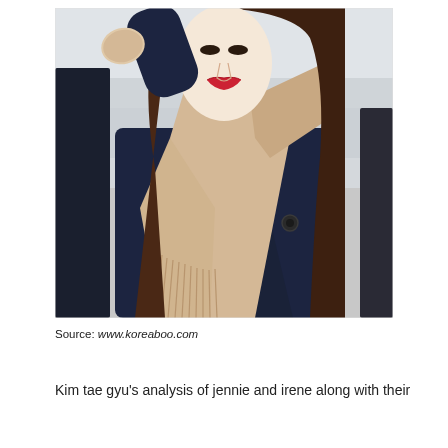[Figure (photo): A young woman with long brown hair wearing a navy blue coat and a beige fringed scarf, with red lipstick, shielding her eyes with one hand. The photo appears to be taken at an outdoor location.]
Source: www.koreaboo.com
Kim tae gyu's analysis of jennie and irene along with their